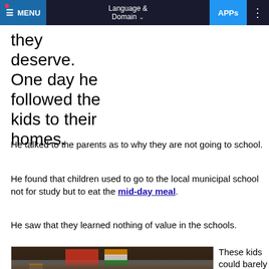MENU | Language & Domain | APPs
they deserve.
One day he followed the kids to their homes.
He talked to the parents as to why they are not going to school.
He found that children used to go to the local municipal school not for study but to eat the mid-day meal.
He saw that they learned nothing of value in the schools.
[Figure (photo): Group of school children in uniforms holding Indian tricolor flags, standing in front of a shed structure.]
These kids could barely read or